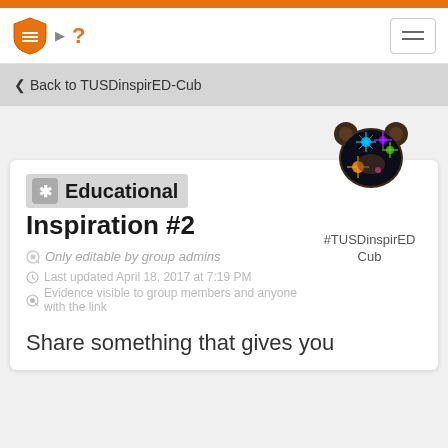Back to TUSDinspirED-Cub
Educational Inspiration #2
Only editable by group admins
Last updated April 18, 2017 at 7:19 PM
Evidence visible to group members and anyone with the link
[Figure (illustration): Bear avatar with colorful fireworks/galaxy design for #TUSDinspirED Cub group]
#TUSDinspirED Cub
Share something that gives you educational inspiration...